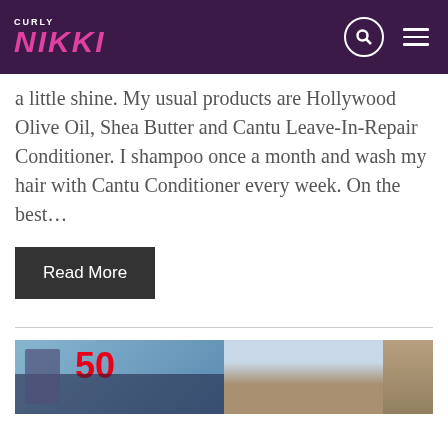Curly Nikki
a little shine. My usual products are Hollywood Olive Oil, Shea Butter and Cantu Leave-In-Repair Conditioner. I shampoo once a month and wash my hair with Cantu Conditioner every week. On the best…
Read More
[Figure (photo): Two-panel image at the bottom of the page: left panel shows a person in front of a red logo/sign background, right panel shows a street scene with a building facade.]